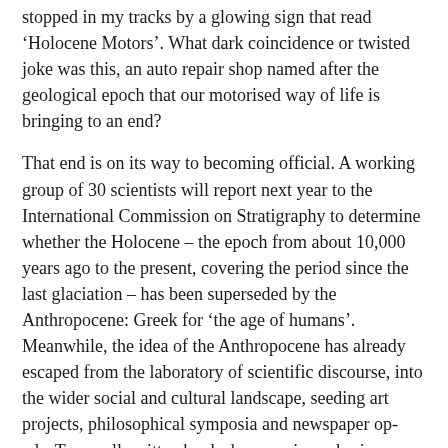stopped in my tracks by a glowing sign that read 'Holocene Motors'. What dark coincidence or twisted joke was this, an auto repair shop named after the geological epoch that our motorised way of life is bringing to an end?
That end is on its way to becoming official. A working group of 30 scientists will report next year to the International Commission on Stratigraphy to determine whether the Holocene – the epoch from about 10,000 years ago to the present, covering the period since the last glaciation – has been superseded by the Anthropocene: Greek for 'the age of humans'. Meanwhile, the idea of the Anthropocene has already escaped from the laboratory of scientific discourse, into the wider social and cultural landscape, seeding art projects, philosophical symposia and newspaper op-eds. Two well-written books by experienced science journalists – one from Germany, the other based in the UK – each offer a beginner's guide to this terrain.
Christian Schwägerl juxtaposes a history of the emergence of a scientific awareness of the planetary impact of human activity with the deep perspective of the history of the planet itself. He